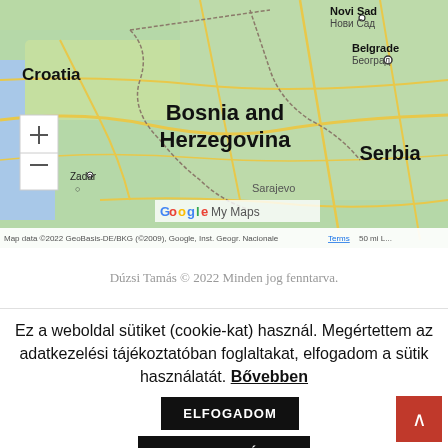[Figure (map): Google My Maps screenshot showing Croatia, Bosnia and Herzegovina, Serbia region with Novi Sad, Belgrade, Zadar, Sarajevo labeled. Includes zoom controls and map attribution: 'Map data ©2022 GeoBasis-DE/BKG (©2009), Google, Inst. Geogr. Nacional Terms 50 mi L...']
Dúzsi Tamás © 2022 Minden jog fenntarva.
Ez a weboldal sütiket (cookie-kat) használ. Megértettem az adatkezelési tájékoztatóban foglaltakat, elfogadom a sütik használatát. Bővebben ELFOGADOM VISSZAUTASÍTOM